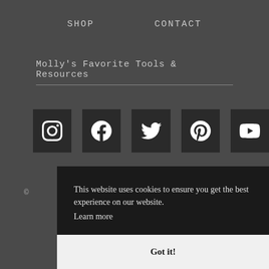SHOP   CONTACT
Molly's Favorite Tools & Resources
[Figure (infographic): Five social media icons in dark square buttons: Instagram, Facebook, Twitter, Pinterest, YouTube]
©
This website uses cookies to ensure you get the best experience on our website. Learn more
Got it!